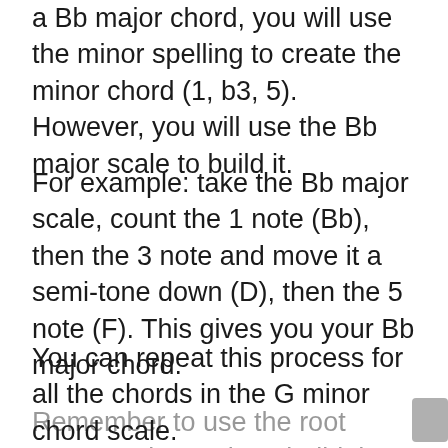a Bb major chord, you will use the minor spelling to create the minor chord (1, b3, 5). However, you will use the Bb major scale to build it.
For example: take the Bb major scale, count the 1 note (Bb), then the 3 note and move it a semi-tone down (D), then the 5 note (F). This gives you your Bb major chord.
You can repeat this process for all the chords in the G minor chord scale.
Remember to use the root note's major scale to build the chord – even if it isn't a